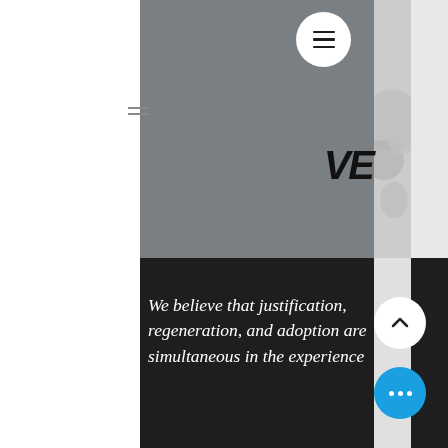[Figure (screenshot): Gray upper section of a webpage with a white circular hamburger menu button near the top center]
[Figure (screenshot): Partial right-side panel showing large bold letters 'VE' and a monochrome abstract/splatter image below]
[Figure (screenshot): Dark lower section of webpage with a white circular up-arrow scroll button and a blue circular more-options button with three white dots]
We believe that justification, regeneration, and adoption are simultaneous in the experience...